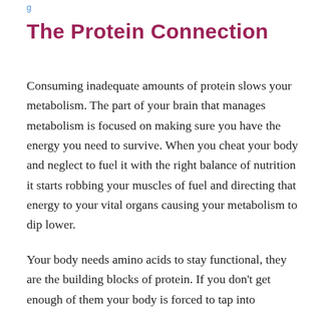g
The Protein Connection
Consuming inadequate amounts of protein slows your metabolism. The part of your brain that manages metabolism is focused on making sure you have the energy you need to survive. When you cheat your body and neglect to fuel it with the right balance of nutrition it starts robbing your muscles of fuel and directing that energy to your vital organs causing your metabolism to dip lower.
Your body needs amino acids to stay functional, they are the building blocks of protein. If you don't get enough of them your body is forced to tap into